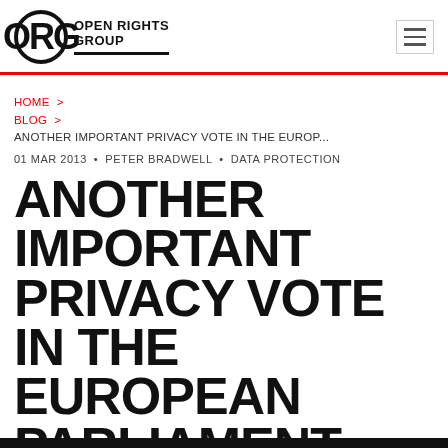ORG Open Rights Group
HOME > BLOG > ANOTHER IMPORTANT PRIVACY VOTE IN THE EUROP...
01 MAR 2013 • PETER BRADWELL • DATA PROTECTION
ANOTHER IMPORTANT PRIVACY VOTE IN THE EUROPEAN PARLIAMENT